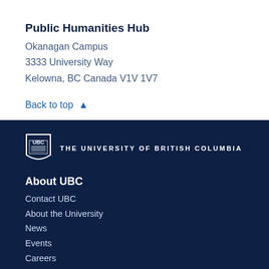Public Humanities Hub
Okanagan Campus
3333 University Way
Kelowna, BC Canada V1V 1V7
Back to top ∧
[Figure (logo): UBC shield logo with text THE UNIVERSITY OF BRITISH COLUMBIA]
About UBC
Contact UBC
About the University
News
Events
Careers
Make a Gift
Search UBC.ca
UBC Campuses